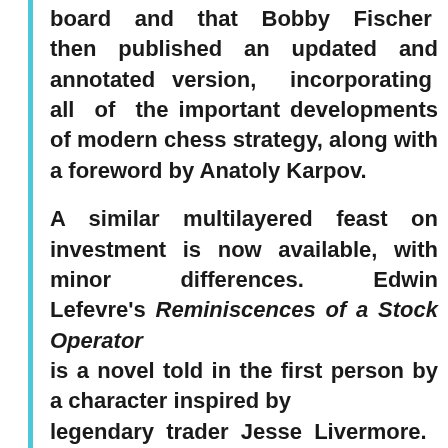board and that Bobby Fischer then published an updated and annotated version, incorporating all of the important developments of modern chess strategy, along with a foreword by Anatoly Karpov.
A similar multilayered feast on investment is now available, with minor differences. Edwin Lefevre's Reminiscences of a Stock Operator is a novel told in the first person by a character inspired by legendary trader Jesse Livermore.